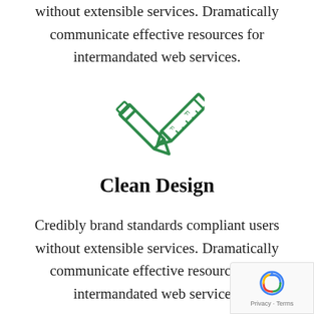without extensible services. Dramatically communicate effective resources for intermandated web services.
[Figure (illustration): Green outlined icon of crossed pencil and ruler/eraser]
Clean Design
Credibly brand standards compliant users without extensible services. Dramatically communicate effective resources for intermandated web services.